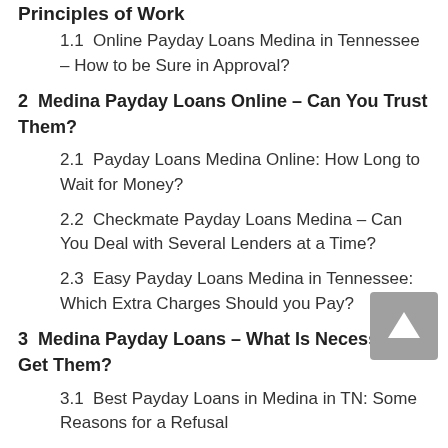Principles of Work
1.1  Online Payday Loans Medina in Tennessee – How to be Sure in Approval?
2  Medina Payday Loans Online – Can You Trust Them?
2.1  Payday Loans Medina Online: How Long to Wait for Money?
2.2  Checkmate Payday Loans Medina – Can You Deal with Several Lenders at a Time?
2.3  Easy Payday Loans Medina in Tennessee: Which Extra Charges Should you Pay?
3  Medina Payday Loans – What Is Necessary to Get Them?
3.1  Best Payday Loans in Medina in TN: Some Reasons for a Refusal